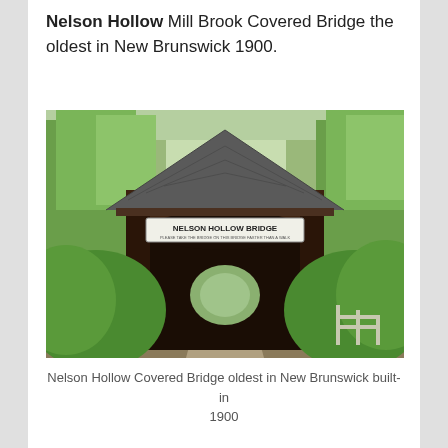Nelson Hollow Mill Brook Covered Bridge the oldest in New Brunswick 1900.
[Figure (photo): Photograph of the Nelson Hollow Bridge, a wooden covered bridge with a dark shingled peaked roof. A sign reading 'NELSON HOLLOW BRIDGE' hangs above the entrance. A gravel road leads into the dark tunnel of the bridge. Green leafy trees surround both sides. A wooden fence is visible on the right.]
Nelson Hollow Covered Bridge oldest in New Brunswick built-in 1900